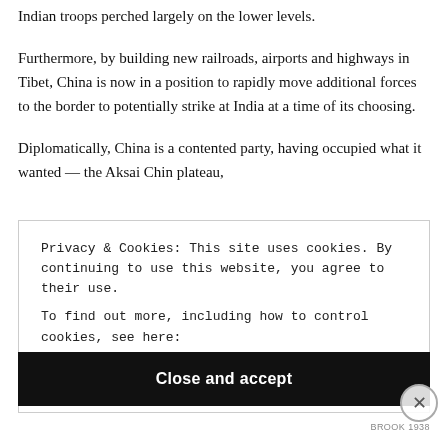Indian troops perched largely on the lower levels.
Furthermore, by building new railroads, airports and highways in Tibet, China is now in a position to rapidly move additional forces to the border to potentially strike at India at a time of its choosing.
Diplomatically, China is a contented party, having occupied what it wanted — the Aksai Chin plateau,
Privacy & Cookies: This site uses cookies. By continuing to use this website, you agree to their use.
To find out more, including how to control cookies, see here:
Cookie Policy
Close and accept